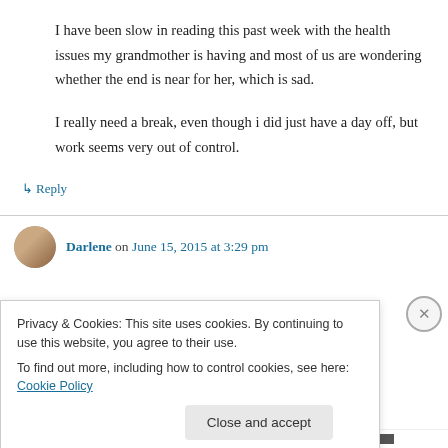I have been slow in reading this past week with the health issues my grandmother is having and most of us are wondering whether the end is near for her, which is sad.

I really need a break, even though i did just have a day off, but work seems very out of control.
↳ Reply
Darlene on June 15, 2015 at 3:29 pm
Privacy & Cookies: This site uses cookies. By continuing to use this website, you agree to their use.
To find out more, including how to control cookies, see here: Cookie Policy